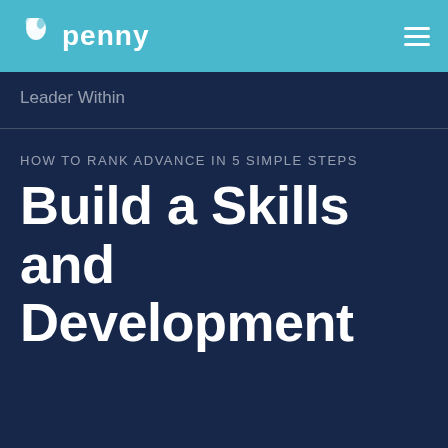penny [logo]
Leader Within
HOW TO RANK ADVANCE IN 5 SIMPLE STEPS
Build a Skills and Development